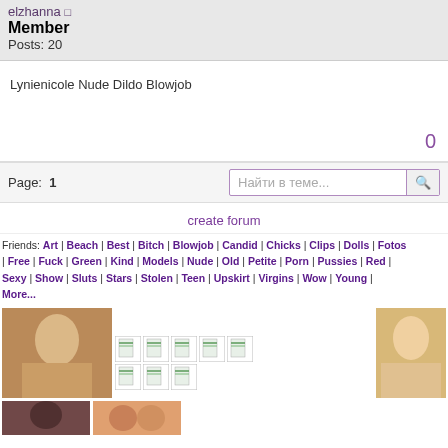elzhanna
Member
Posts: 20
Lynienicole Nude Dildo Blowjob
0
Page: 1
Найти в теме...
create forum
Friends: Art | Beach | Best | Bitch | Blowjob | Candid | Chicks | Clips | Dolls | Fotos | Free | Fuck | Green | Kind | Models | Nude | Old | Petite | Porn | Pussies | Red | Sexy | Show | Sluts | Stars | Stolen | Teen | Upskirt | Virgins | Wow | Young | More...
[Figure (photo): Thumbnail photo of blonde girl taking selfie]
[Figure (photo): Small document icons row]
[Figure (photo): Thumbnail photo of smiling girl]
[Figure (photo): Bottom row thumbnail photos]